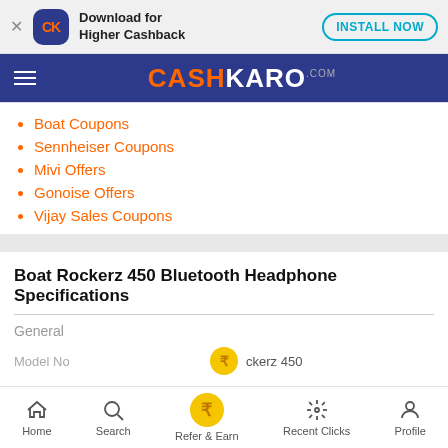[Figure (screenshot): App install banner with CK logo, 'Download for Higher Cashback' text and 'INSTALL NOW' button]
[Figure (logo): CashKaro.com navigation bar with hamburger menu]
Boat Coupons
Sennheiser Coupons
Mivi Offers
Gonoise Offers
Vijay Sales Coupons
Boat Rockerz 450 Bluetooth Headphone Specifications
General
Model No
Home  Search  Refer & Earn  Recent Clicks  Profile